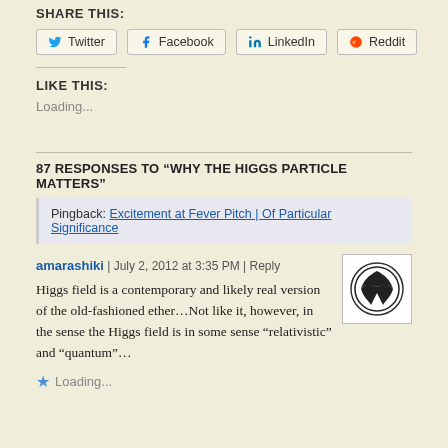SHARE THIS:
Twitter | Facebook | LinkedIn | Reddit (share buttons)
LIKE THIS:
Loading...
87 RESPONSES TO “WHY THE HIGGS PARTICLE MATTERS”
Pingback: Excitement at Fever Pitch | Of Particular Significance
amarashiki | July 2, 2012 at 3:35 PM | Reply
Higgs field is a contemporary and likely real version of the old-fashioned ether…Not like it, however, in the sense the Higgs field is in some sense “relativistic” and “quantum”…
Loading...